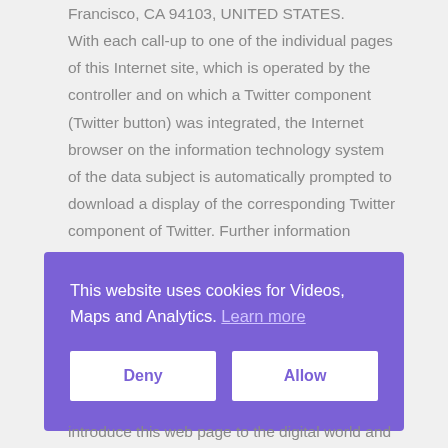Francisco, CA 94103, UNITED STATES. With each call-up to one of the individual pages of this Internet site, which is operated by the controller and on which a Twitter component (Twitter button) was integrated, the Internet browser on the information technology system of the data subject is automatically prompted to download a display of the corresponding Twitter component of Twitter. Further information about the Twitter buttons is available under https://about.twitter.com/de/resources/buttons
This website uses cookies for Videos, Maps and Analytics. Learn more
Deny
Allow
introduce this web page to the digital world and